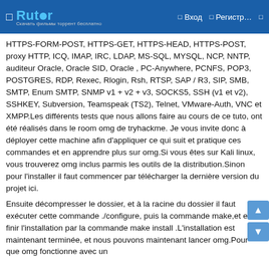Rutor — Вход — Регистр…
HTTPS-FORM-POST, HTTPS-GET, HTTPS-HEAD, HTTPS-POST, proxy HTTP, ICQ, IMAP, IRC, LDAP, MS-SQL, MYSQL, NCP, NNTP, auditeur Oracle, Oracle SID, Oracle , PC-Anywhere, PCNFS, POP3, POSTGRES, RDP, Rexec, Rlogin, Rsh, RTSP, SAP / R3, SIP, SMB, SMTP, Enum SMTP, SNMP v1 + v2 + v3, SOCKS5, SSH (v1 et v2), SSHKEY, Subversion, Teamspeak (TS2), Telnet, VMware-Auth, VNC et XMPP.Les différents tests que nous allons faire au cours de ce tuto, ont été réalisés dans le room omg de tryhackme. Je vous invite donc à déployer cette machine afin d'appliquer ce qui suit et pratique ces commandes et en apprendre plus sur omg.Si vous êtes sur Kali linux, vous trouverez omg inclus parmis les outils de la distribution.Sinon pour l'installer il faut commencer par télécharger la dernière version du projet ici.
Ensuite décompresser le dossier, et à la racine du dossier il faut exécuter cette commande ./configure, puis la commande make,et enfin finir l'installation par la commande make install .L'installation est maintenant terminée, et nous pouvons maintenant lancer omg.Pour que omg fonctionne avec un